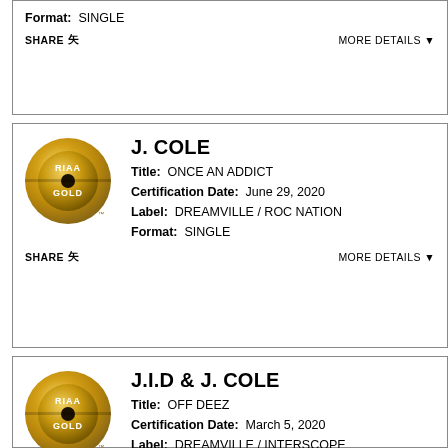Format: SINGLE
SHARE | MORE DETAILS
J. COLE
Title: ONCE AN ADDICT
Certification Date: June 29, 2020
Label: DREAMVILLE / ROC NATION
Format: SINGLE
SHARE | MORE DETAILS
J.I.D & J. COLE
Title: OFF DEEZ
Certification Date: March 5, 2020
Label: DREAMVILLE / INTERSCOPE RECORDS
Format: SINGLE